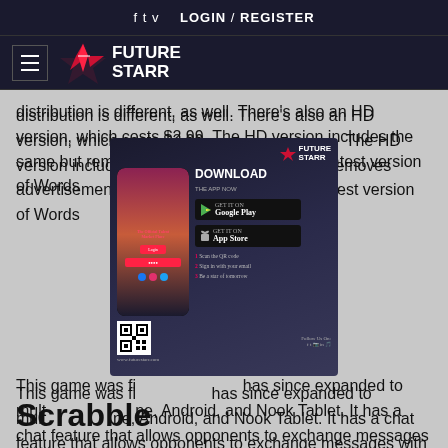f  t  v  LOGIN  /  REGISTER
[Figure (logo): Future Starr logo with hamburger menu and star icon]
distribution is different, as well. There's also an HD version, which costs $2.99. The HD version includes the same but removes advertisements. It to the latest version of Words
[Figure (screenshot): Future Starr app download advertisement popup showing phone mockup, Download The App Now, Google Play and App Store buttons, QR code, and www.futurestarr.com]
This game was fi has since expanded to mult ne, Android, and Nook Tablet. It has a chat feature that allows opponents to exchange messages with each other. In 2010 and 2011, the game topped the app store charts for both iOS and Android devices. It was originally available in a free, ad-supported version, but has since been made available without ads.
Scrabble